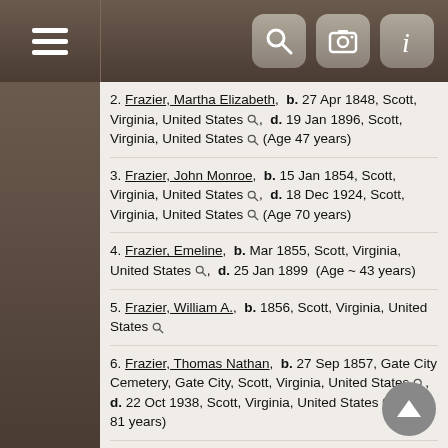Navigation bar with menu, search, camera, and info buttons
2. Frazier, Martha Elizabeth,  b. 27 Apr 1848, Scott, Virginia, United States,  d. 19 Jan 1896, Scott, Virginia, United States  (Age 47 years)
3. Frazier, John Monroe,  b. 15 Jan 1854, Scott, Virginia, United States,  d. 18 Dec 1924, Scott, Virginia, United States  (Age 70 years)
4. Frazier, Emeline,  b. Mar 1855, Scott, Virginia, United States,  d. 25 Jan 1899  (Age ~ 43 years)
5. Frazier, William A.,  b. 1856, Scott, Virginia, United States
6. Frazier, Thomas Nathan,  b. 27 Sep 1857, Gate City Cemetery, Gate City, Scott, Virginia, United States,  d. 22 Oct 1938, Scott, Virginia, United States  (Age 81 years)
7. Frazier, Phebe B.,  b. 1 Jan 1860, Scott, Virginia, United States,  d. 20 Feb 1919, Scott, Virginia, United States  (Age 59 years)
8. Frazier, Elizabeth,  b. 1862, Scott, Virginia, United States,  d. Yes, date unknown
9. Frazier, Mary E.,  b. 1866, Virginia, United States,  d. Yes, date unknown
10. Frazier, Louise Melissa,  b. 16 Aug 1866, Scott, Virginia, United States,  d. 12 Jan 1957, Fort Blackmore, Scott, Virginia, United States  (Age 90